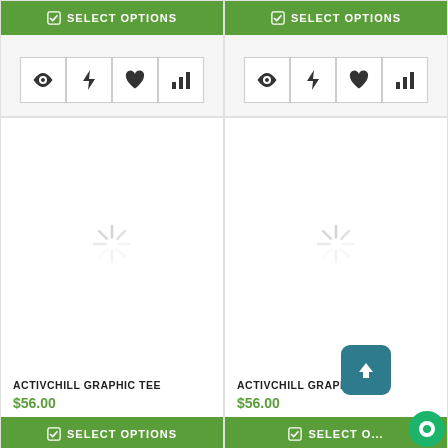[Figure (screenshot): Top-left product card partial: green SELECT OPTIONS button with checkmark icon, then icon row with eye, lightning, heart, bar-chart icons in bordered boxes on gray background]
[Figure (screenshot): Top-right product card partial: green SELECT OPTIONS button with checkmark icon, then icon row with eye, lightning, heart, bar-chart icons in bordered boxes on gray background]
[Figure (screenshot): Bottom-left product card: loading spinner image placeholder, ACTIVCHILL GRAPHIC TEE title, $56.00 price, green SELECT OPTIONS button]
ACTIVCHILL GRAPHIC TEE
$56.00
[Figure (screenshot): Bottom-right product card: loading spinner image placeholder, ACTIVCHILL GRAPHIC TEE title, $56.00 price, green SELECT OPTIONS button (partially cut off), with upload arrow overlay icon and chat bubble overlay icon]